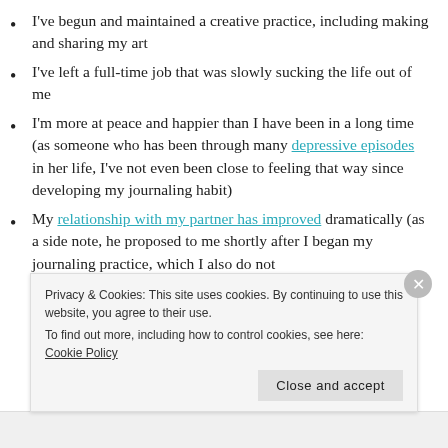I've begun and maintained a creative practice, including making and sharing my art
I've left a full-time job that was slowly sucking the life out of me
I'm more at peace and happier than I have been in a long time (as someone who has been through many depressive episodes in her life, I've not even been close to feeling that way since developing my journaling habit)
My relationship with my partner has improved dramatically (as a side note, he proposed to me shortly after I began my journaling practice, which I also do not think is a coincidence)
Privacy & Cookies: This site uses cookies. By continuing to use this website, you agree to their use. To find out more, including how to control cookies, see here: Cookie Policy